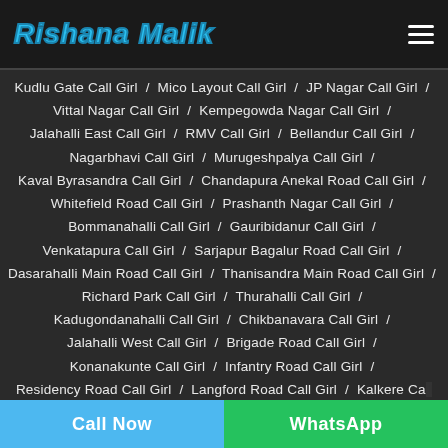Rishana Malik
Kudlu Gate Call Girl / Mico Layout Call Girl / JP Nagar Call Girl / Vittal Nagar Call Girl / Kempegowda Nagar Call Girl / Jalahalli East Call Girl / RMV Call Girl / Bellandur Call Girl / Nagarbhavi Call Girl / Murugeshpalya Call Girl / Kaval Byrasandra Call Girl / Chandapura Anekal Road Call Girl / Whitefield Road Call Girl / Prashanth Nagar Call Girl / Bommanahalli Call Girl / Gauribidanur Call Girl / Venkatapura Call Girl / Sarjapur Bagalur Road Call Girl / Dasarahalli Main Road Call Girl / Thanisandra Main Road Call Girl / Richard Park Call Girl / Thurahalli Call Girl / Kadugondanahalli Call Girl / Chikbanavara Call Girl / Jalahalli West Call Girl / Brigade Road Call Girl / Konanakunte Call Girl / Infantry Road Call Girl / Residency Road Call Girl / Langford Road Call Girl / Kalkere Call Girl /
Call Now | WhatsApp